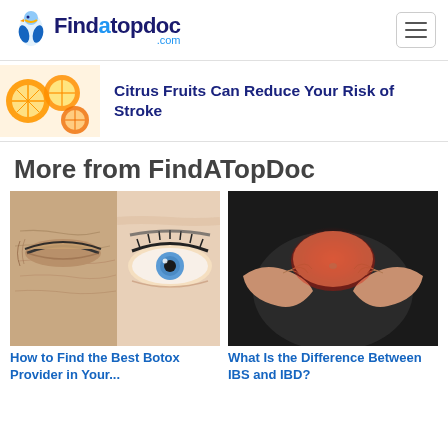Findatopdoc.com
Citrus Fruits Can Reduce Your Risk of Stroke
More from FindATopDoc
[Figure (photo): Close-up of aging eye area with wrinkles and a blue eye]
How to Find the Best Botox Provider in Your...
[Figure (photo): Person holding stomach area with red glow indicating pain]
What Is the Difference Between IBS and IBD?